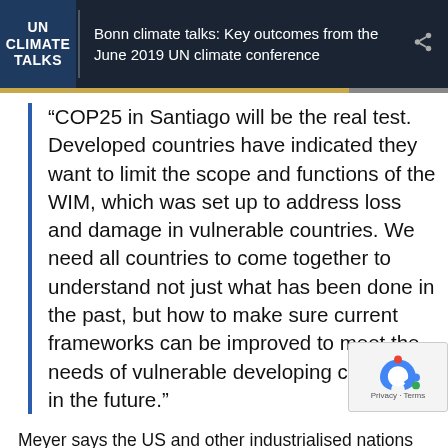UN CLIMATE TALKS — Bonn climate talks: Key outcomes from the June 2019 UN climate conference
“COP25 in Santiago will be the real test. Developed countries have indicated they want to limit the scope and functions of the WIM, which was set up to address loss and damage in vulnerable countries. We need all countries to come together to understand not just what has been done in the past, but how to make sure current frameworks can be improved to meet the needs of vulnerable developing countries in the future.”
Meyer says the US and other industrialised nations are